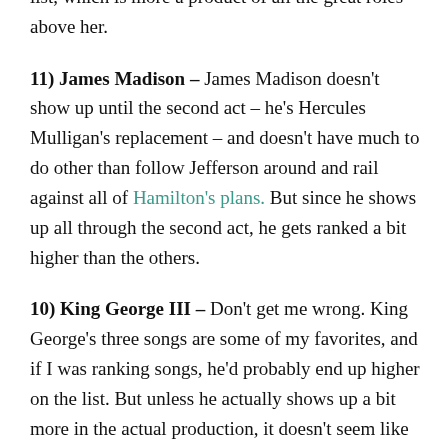list, which is more a product of all the great roles above her.
11) James Madison – James Madison doesn't show up until the second act – he's Hercules Mulligan's replacement – and doesn't have much to do other than follow Jefferson around and rail against all of Hamilton's plans. But since he shows up all through the second act, he gets ranked a bit higher than the others.
10) King George III – Don't get me wrong. King George's three songs are some of my favorites, and if I was ranking songs, he'd probably end up higher on the list. But unless he actually shows up a bit more in the actual production, it doesn't seem like he's around all that much based on the soundtrack. My affection for his